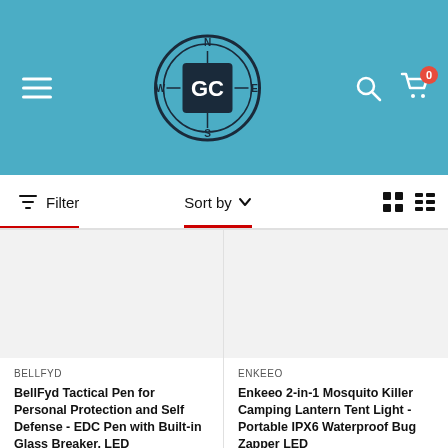[Figure (screenshot): E-commerce website header with teal/blue background, hamburger menu on left, GC compass logo in center, search and cart icons on right with cart showing 0 items]
Filter
Sort by
BELLFYD
BellFyd Tactical Pen for Personal Protection and Self Defense - EDC Pen with Built-in Glass Breaker, LED
ENKEEO
Enkeeo 2-in-1 Mosquito Killer Camping Lantern Tent Light - Portable IPX6 Waterproof Bug Zapper LED